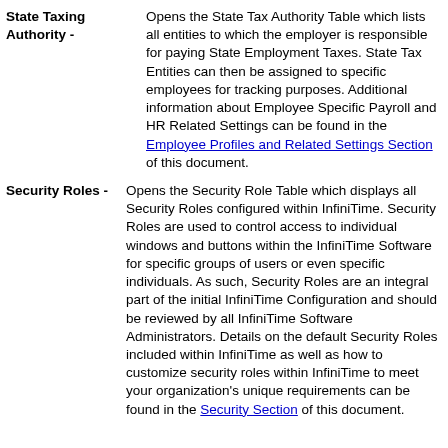State Taxing Authority - Opens the State Tax Authority Table which lists all entities to which the employer is responsible for paying State Employment Taxes. State Tax Entities can then be assigned to specific employees for tracking purposes. Additional information about Employee Specific Payroll and HR Related Settings can be found in the Employee Profiles and Related Settings Section of this document.
Security Roles - Opens the Security Role Table which displays all Security Roles configured within InfiniTime. Security Roles are used to control access to individual windows and buttons within the InfiniTime Software for specific groups of users or even specific individuals. As such, Security Roles are an integral part of the initial InfiniTime Configuration and should be reviewed by all InfiniTime Software Administrators. Details on the default Security Roles included within InfiniTime as well as how to customize security roles within InfiniTime to meet your organization's unique requirements can be found in the Security Section of this document.